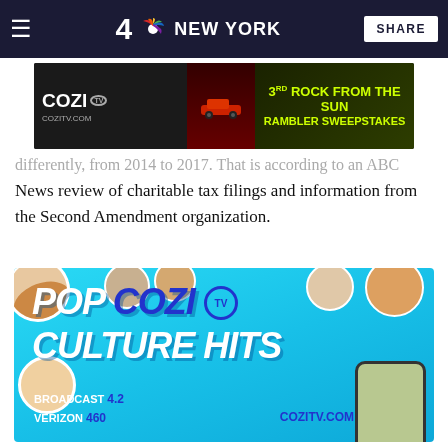4 NBC NEW YORK | SHARE
[Figure (advertisement): COZI TV banner ad: '3rd Rock From The Sun Rambler Sweepstakes' with car image on dark background, cozitv.com]
News review of charitable tax filings and information from the Second Amendment organization.
[Figure (advertisement): COZI TV large colorful ad: 'POP COZI TV CULTURE HITS' on teal background with cartoon character heads, BROADCAST 4.2, VERIZON 460, COZITV.COM]